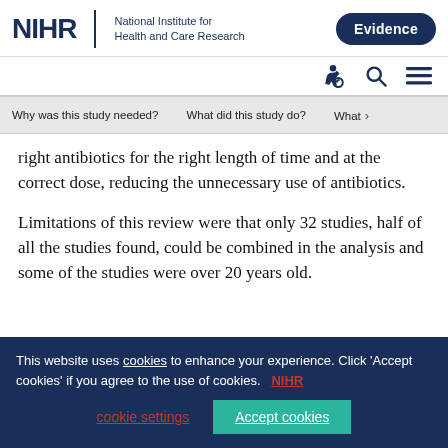[Figure (logo): NIHR logo with text 'National Institute for Health and Care Research' and 'Evidence' button]
right antibiotics for the right length of time and at the correct dose, reducing the unnecessary use of antibiotics.
Limitations of this review were that only 32 studies, half of all the studies found, could be combined in the analysis and some of the studies were over 20 years old.
This website uses cookies to enhance your experience. Click 'Accept cookies' if you agree to the use of cookies. NIHR cookie settings Accept cookies